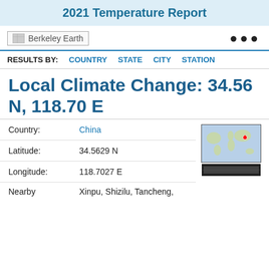2021 Temperature Report
[Figure (logo): Berkeley Earth logo placeholder with image icon and text 'Berkeley Earth']
RESULTS BY:  COUNTRY  STATE  CITY  STATION
Local Climate Change: 34.56 N, 118.70 E
| Country: | China |
| Latitude: | 34.5629 N |
| Longitude: | 118.7027 E |
| Nearby | Xinpu, Shizilu, Tancheng, |
[Figure (map): World map with red pin marking location in eastern China near 34.56N, 118.70E, plus a detail strip below]